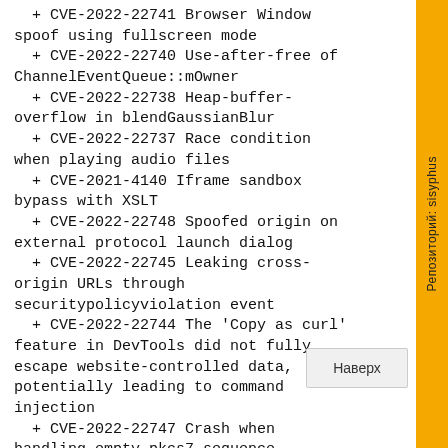+ CVE-2022-22741 Browser Window spoof using fullscreen mode
+ CVE-2022-22740 Use-after-free of ChannelEventQueue::mOwner
+ CVE-2022-22738 Heap-buffer-overflow in blendGaussianBlur
+ CVE-2022-22737 Race condition when playing audio files
+ CVE-2021-4140 Iframe sandbox bypass with XSLT
+ CVE-2022-22748 Spoofed origin on external protocol launch dialog
+ CVE-2022-22745 Leaking cross-origin URLs through securitypolicyviolation event
+ CVE-2022-22744 The 'Copy as curl' feature in DevTools did not fully escape website-controlled data, potentially leading to command injection
+ CVE-2022-22747 Crash when handling empty pkcs7 sequence
+ CVE-2022-22739 Missing throttling